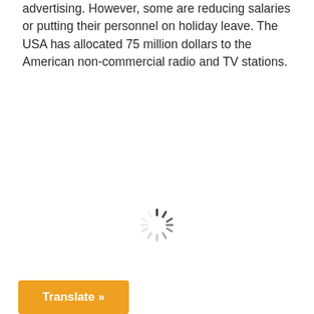advertising. However, some are reducing salaries or putting their personnel on holiday leave. The USA has allocated 75 million dollars to the American non-commercial radio and TV stations.
[Figure (other): Loading spinner / activity indicator graphic in the center of the page]
Translate »